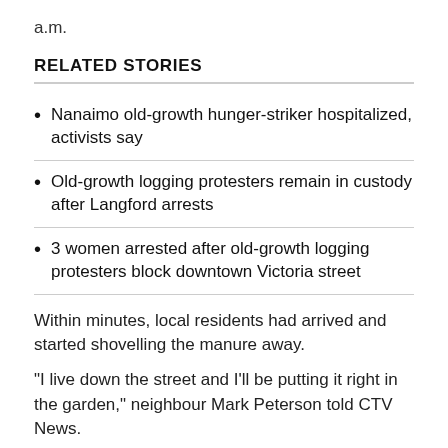a.m.
RELATED STORIES
Nanaimo old-growth hunger-striker hospitalized, activists say
Old-growth logging protesters remain in custody after Langford arrests
3 women arrested after old-growth logging protesters block downtown Victoria street
Within minutes, local residents had arrived and started shovelling the manure away.
"I live down the street and I'll be putting it right in the garden," neighbour Mark Peterson told CTV News.